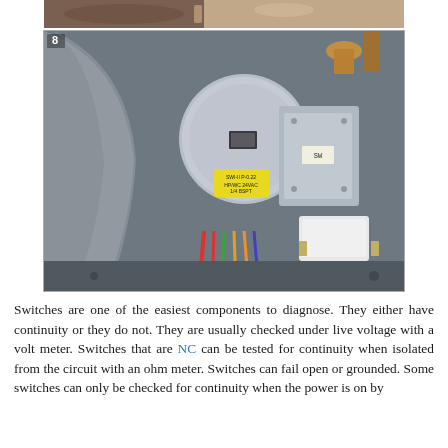[Figure (photo): Partial view of a furnace component or pipe fitting at the top of the page (cropped)]
[Figure (photo): Photo numbered 8 showing a pressure switch or similar round electrical/mechanical component mounted inside an HVAC furnace unit, with colored wires (red, green, orange) and a white rectangular component visible at the bottom right.]
Switches are one of the easiest components to diagnose. They either have continuity or they do not. They are usually checked under live voltage with a volt meter. Switches that are NC can be tested for continuity when isolated from the circuit with an ohm meter. Switches can fail open or grounded. Some switches can only be checked for continuity when the power is on by